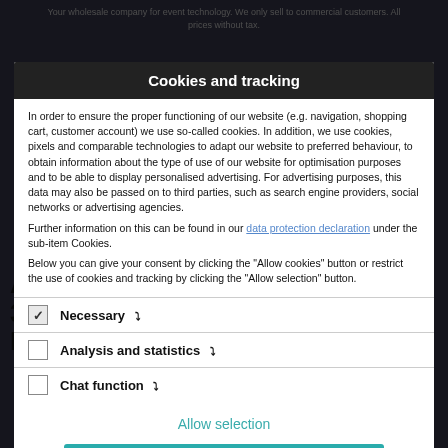Your wholesale company for event technology. We only sell to commercial customers. All prices without tax.
Cookies and tracking
In order to ensure the proper functioning of our website (e.g. navigation, shopping cart, customer account) we use so-called cookies. In addition, we use cookies, pixels and comparable technologies to adapt our website to preferred behaviour, to obtain information about the type of use of our website for optimisation purposes and to be able to display personalised advertising. For advertising purposes, this data may also be passed on to third parties, such as search engine providers, social networks or advertising agencies.
Further information on this can be found in our data protection declaration under the sub-item Cookies.
Below you can give your consent by clicking the "Allow cookies" button or restrict the use of cookies and tracking by clicking the "Allow selection" button.
☑ Necessary ▾
☐ Analysis and statistics ▾
☐ Chat function ▾
Allow selection
Allow Cookies